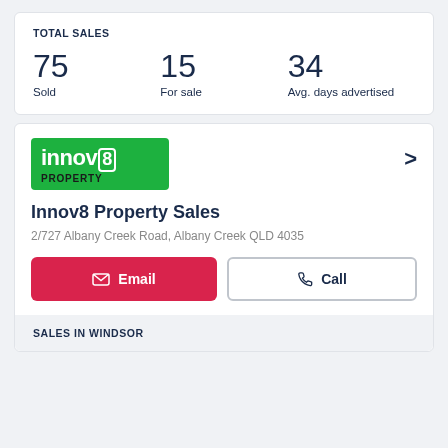TOTAL SALES
75 Sold
15 For sale
34 Avg. days advertised
[Figure (logo): Innov8 Property green logo]
Innov8 Property Sales
2/727 Albany Creek Road, Albany Creek QLD 4035
Email
Call
SALES IN WINDSOR